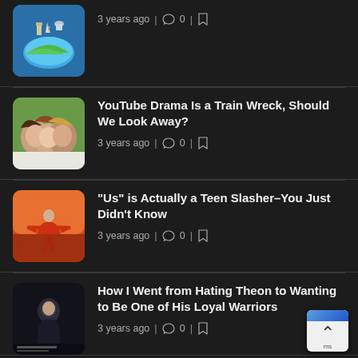[Figure (illustration): Thumbnail of globe with world landmarks]
3 years ago | 0 |
[Figure (photo): Thumbnail of three young women lying down together]
YouTube Drama Is a Train Wreck, Should We Look Away?
3 years ago | 0 |
[Figure (photo): Thumbnail of person in red outfit in field]
“Us” is Actually a Teen Slasher–You Just Didn’t Know
3 years ago | 0 |
[Figure (photo): Dark thumbnail with person]
How I Went from Hating Theon to Wanting to Be One of His Loyal Warriors
3 years ago | 0 |